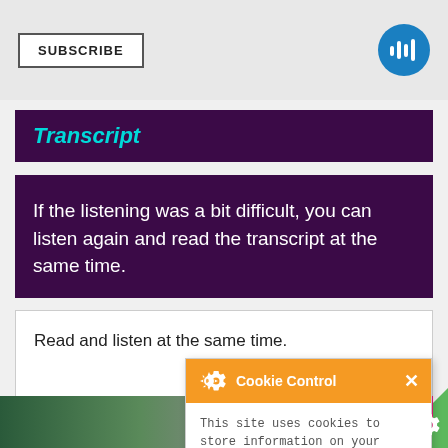SUBSCRIBE
Transcript
If the listening was a bit difficult, you can listen again and read the transcript at the same time.
Read and listen at the same time.
[Figure (screenshot): Cookie Control popup overlay with orange header, gear icon, title 'Cookie Control', close X button, body text 'This site uses cookies to store information on your computer.', orange link 'About this tool', and orange 'read more' button]
[Figure (photo): Bottom strip showing partial photo of person holding red phone]